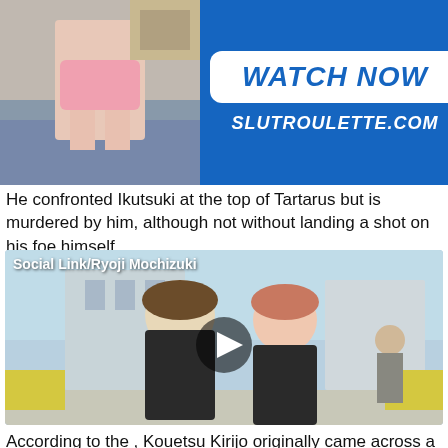[Figure (photo): Advertisement banner for slutroulette.com with photo on left and 'WATCH NOW' button on right on blue background]
He confronted Ikutsuki at the top of Tartarus but is murdered by him, although not without landing a shot on his foe himself.
[Figure (screenshot): Anime game screenshot labeled 'Social Link/Ryoji Mochizuki' showing two anime characters with a video play button overlay]
According to the , Kouetsu Kirijo originally came across a Plume of Dusk, and started his research into it for benevolent purposes.